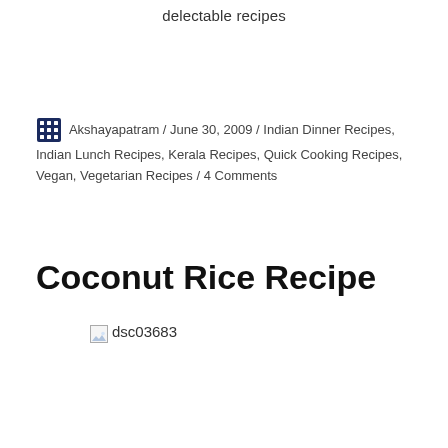delectable recipes
Akshayapatram / June 30, 2009 / Indian Dinner Recipes, Indian Lunch Recipes, Kerala Recipes, Quick Cooking Recipes, Vegan, Vegetarian Recipes / 4 Comments
Coconut Rice Recipe
[Figure (photo): Broken image placeholder labeled dsc03683]